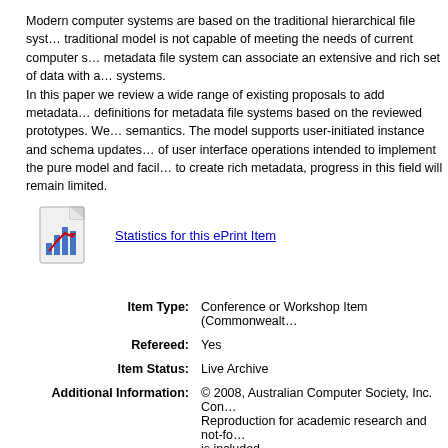Modern computer systems are based on the traditional hierarchical file system. The traditional model is not capable of meeting the needs of current computer systems. A metadata file system can associate an extensive and rich set of data with a file systems. In this paper we review a wide range of existing proposals to add metadata and provide definitions for metadata file systems based on the reviewed prototypes. We propose a pure model and semantics. The model supports user-initiated instance and schema updates. We present a prototype of user interface operations intended to implement the pure model and facilitate rich metadata. Without tools to create rich metadata, progress in this field will remain limited.
[Figure (other): ePrint statistics icon (bar chart graphic with document)]
Statistics for this ePrint Item
| Item Type: | Conference or Workshop Item (Commonwealth... |
| Refereed: | Yes |
| Item Status: | Live Archive |
| Additional Information: | © 2008, Australian Computer Society, Inc. Con... Reproduction for academic research and not-fo... is included. |
| Faculty/School / Institute/Centre: | Historic - Faculty of Sciences - Department of M... |
| Faculty/School / Institute/Centre: | Historic - Faculty of Sciences - Department of M... |